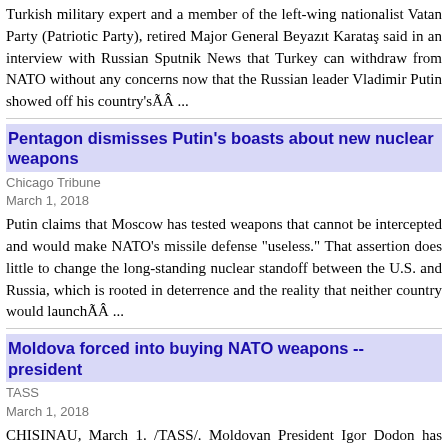Turkish military expert and a member of the left-wing nationalist Vatan Party (Patriotic Party), retired Major General Beyazıt Karataş said in an interview with Russian Sputnik News that Turkey can withdraw from NATO without any concerns now that the Russian leader Vladimir Putin showed off his country'sÃ­Â ...
Pentagon dismisses Putin's boasts about new nuclear weapons
Chicago Tribune
March 1, 2018
Putin claims that Moscow has tested weapons that cannot be intercepted and would make NATO's missile defense "useless." That assertion does little to change the long-standing nuclear standoff between the U.S. and Russia, which is rooted in deterrence and the reality that neither country would launchÃ­Â ...
Moldova forced into buying NATO weapons -- president
TASS
March 1, 2018
CHISINAU, March 1. /TASS/. Moldovan President Igor Dodon has condemned the government's plans of defense purchases from NATO, adding that they were a result of pressure from abroad. Dodon stressed that Moldova was a neutral country. "The task of buying unnecessary weapons for the MoldovanÃ­Â ...